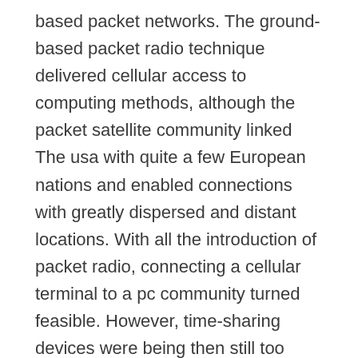based packet networks. The ground-based packet radio technique delivered cellular access to computing methods, although the packet satellite community linked The usa with quite a few European nations and enabled connections with greatly dispersed and distant locations. With all the introduction of packet radio, connecting a cellular terminal to a pc community turned feasible. However, time-sharing devices were being then still too significant, unwieldy, and dear to generally be cellular or simply to exist outside the house a local climate-controlled computing setting. A robust drive Therefore existed to connect the packet radio community to ARPANET so that you can enable cellular users with very simple terminals to accessibility enough time-sharing devices for which that they had authorization. Likewise, the packet satellite community